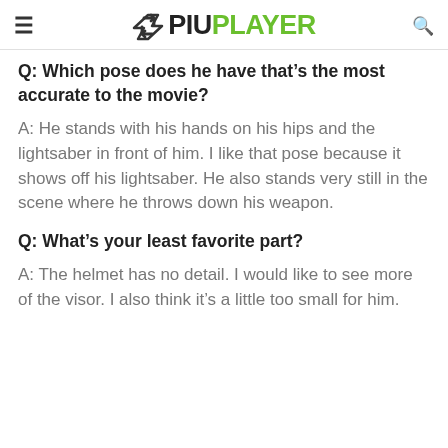≡ PIUPLAYER 🔍
Q: Which pose does he have that's the most accurate to the movie?
A: He stands with his hands on his hips and the lightsaber in front of him. I like that pose because it shows off his lightsaber. He also stands very still in the scene where he throws down his weapon.
Q: What's your least favorite part?
A: The helmet has no detail. I would like to see more of the visor. I also think it's a little too small for him.